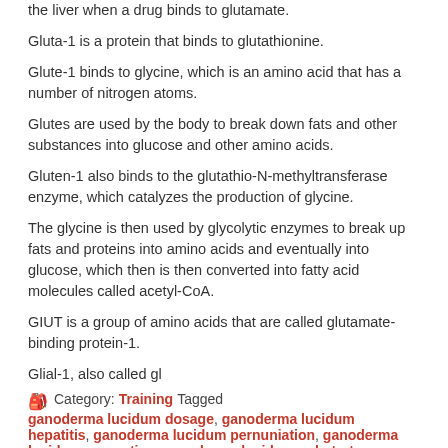the liver when a drug binds to glutamate.
Gluta-1 is a protein that binds to glutathionine.
Glute-1 binds to glycine, which is an amino acid that has a number of nitrogen atoms.
Glutes are used by the body to break down fats and other substances into glucose and other amino acids.
Gluten-1 also binds to the glutathio-N-methyltransferase enzyme, which catalyzes the production of glycine.
The glycine is then used by glycolytic enzymes to break up fats and proteins into amino acids and eventually into glucose, which then is then converted into fatty acid molecules called acetyl-CoA.
GIUT is a group of amino acids that are called glutamate-binding protein-1.
Glial-1, also called gl
Category: Training Tagged ganoderma lucidum dosage, ganoderma lucidum hepatitis, ganoderma lucidum pernuniation, ganoderma lucidum properties, ganoderma lucidum substrate
When it comes to curing